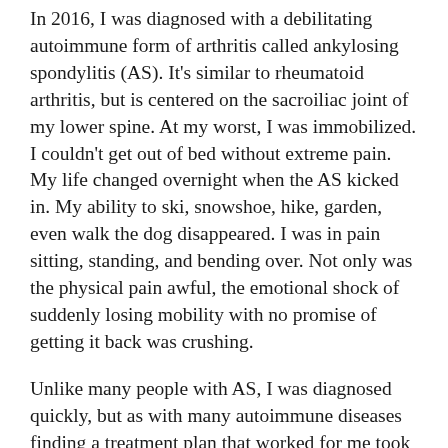In 2016, I was diagnosed with a debilitating autoimmune form of arthritis called ankylosing spondylitis (AS). It's similar to rheumatoid arthritis, but is centered on the sacroiliac joint of my lower spine. At my worst, I was immobilized. I couldn't get out of bed without extreme pain. My life changed overnight when the AS kicked in. My ability to ski, snowshoe, hike, garden, even walk the dog disappeared. I was in pain sitting, standing, and bending over. Not only was the physical pain awful, the emotional shock of suddenly losing mobility with no promise of getting it back was crushing.
Unlike many people with AS, I was diagnosed quickly, but as with many autoimmune diseases finding a treatment plan that worked for me took more than a year. What works for one person, doesn't always work for another person who has the same diagnosis. The meds my doctor prescribed helped, but not completely. I still wasn't able to do the things at mind with out promise of it later it's essentially...